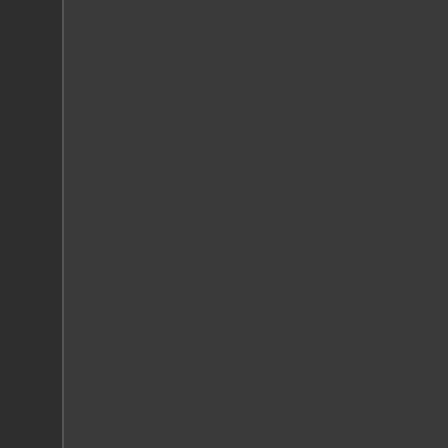therapy. This two part process is reduced chance at relapse than wi
Residential, as well as outpatient t problems from ecstasy abuse. The correlating the appropriate treatme gaining ground as a positive appro approach provides rewards for re option can help the individual who society with healthy activities that p
Heroin Abuse Help, Livingston, M
Heroin abuse help is often neces Heroin is a highly addictive subst regular use. Because mild withdra their "sickness" is actually withdra can be very serious as heroin abu havoc to their work, money, relatio
The first step to help an individual the drug itself and help them con There are many steps that follow t treatment program will go through importance on the road of heroin a for heroin abuse. The knowledge a everyday life to truly be effective.
Marijuana Abuse Help, Livingsto
There are many individuals who fi order to help yourself or someone using marijuana is understood. Th often helpful to identify the reasо providing ideas of how to achieve example, some people abuse ma relaxing without smoking marijua enhance conversation and social years of smoking, the quality of rel